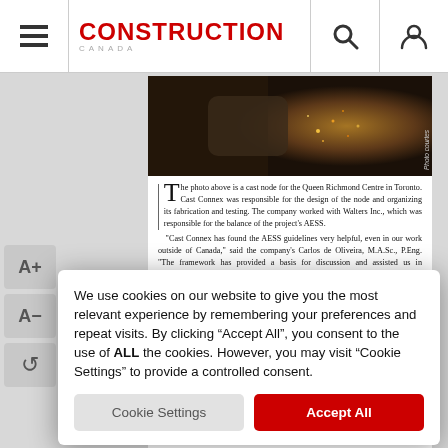Construction Canada
[Figure (photo): Photo of a cast steel node with sparks, dark industrial background. Caption on side: 'Photo courtes...']
The photo above is a cast node for the Queen Richmond Centre in Toronto. Cast Connex was responsible for the design of the node and organizing its fabrication and testing. The company worked with Walters Inc., which was responsible for the balance of the project's AESS. "Cast Connex has found the AESS guidelines very helpful, even in our work outside of Canada," said the company's Carlos de Oliveira, M.A.Sc., P.Eng. "The framework has provided a basis for discussion and assisted us in formalizing expectations with our architecturally exposed cast steel components, which are commonly categorized as AESS 3 or 4."
We use cookies on our website to give you the most relevant experience by remembering your preferences and repeat visits. By clicking “Accept All”, you consent to the use of ALL the cookies. However, you may visit “Cookie Settings” to provide a controlled consent.